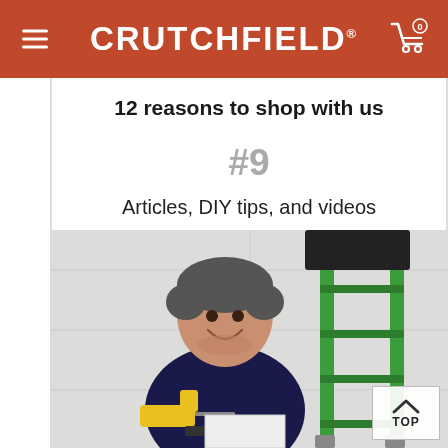CRUTCHFIELD
12 reasons to shop with us
#9
Articles, DIY tips, and videos
[Figure (photo): A smiling middle-aged man in a dark navy sweater, holding a yellow cordless drill, leaning against a green step ladder outdoors near a white garage door.]